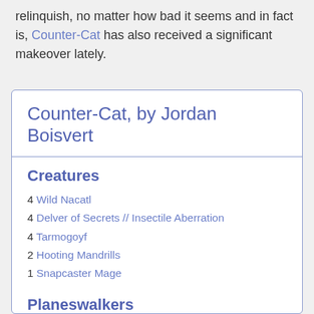relinquish, no matter how bad it seems and in fact is, Counter-Cat has also received a significant makeover lately.
Counter-Cat, by Jordan Boisvert
Creatures
4 Wild Nacatl
4 Delver of Secrets // Insectile Aberration
4 Tarmogoyf
2 Hooting Mandrills
1 Snapcaster Mage
Planeswalkers
2 Wrenn and Six